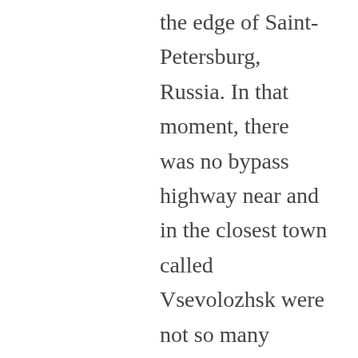the edge of Saint-Petersburg, Russia. In that moment, there was no bypass highway near and in the closest town called Vsevolozhsk were not so many people. Therefore the road passing through my neighborhood out of Saint-Petersburg was not so uploaded and there were quiet, warm, green and fine. I don't remember with whom I was walking: maybe with my girlfriend, or my best friend, or perhaps I was alone. But I recall that I was in the calm and pacified mood. I was 22 and the autumn just began (September 11). Everything good seemed possible to happen and the whole life was ahead. I